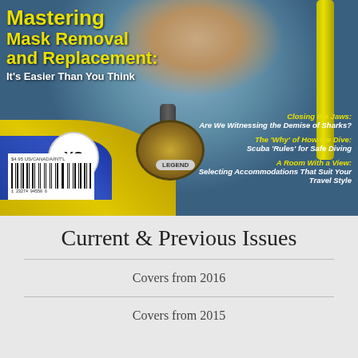[Figure (photo): Magazine cover showing a scuba diver in yellow and blue wetsuit with regulator in mouth, 'XS' branded mask. Cover text overlays with article teasers.]
Current & Previous Issues
Covers from 2016
Covers from 2015